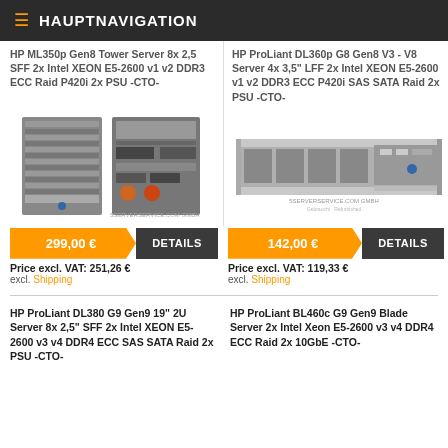HAUPTNAVIGATION
HP ML350p Gen8 Tower Server 8x 2,5 SFF 2x Intel XEON E5-2600 v1 v2 DDR3 ECC Raid P420i 2x PSU -CTO-
HP ProLiant DL360p G8 Gen8 V3 - V8 Server 4x 3,5" LFF 2x Intel XEON E5-2600 v1 v2 DDR3 ECC P420i SAS SATA Raid 2x PSU -CTO-
[Figure (photo): HP ML350p Gen8 Tower Server front and rear views]
[Figure (photo): HP ProLiant DL360p G8 rack server front view]
299,00 € DETAILS
142,00 € DETAILS
Price excl. VAT: 251,26 €
excl. Shipping
Price excl. VAT: 119,33 €
excl. Shipping
HP ProLiant DL380 G9 Gen9 19" 2U Server 8x 2,5" SFF 2x Intel XEON E5-2600 v3 v4 DDR4 ECC SAS SATA Raid 2x PSU -CTO-
HP ProLiant BL460c G9 Gen9 Blade Server 2x Intel Xeon E5-2600 v3 v4 DDR4 ECC Raid 2x 10GbE -CTO-